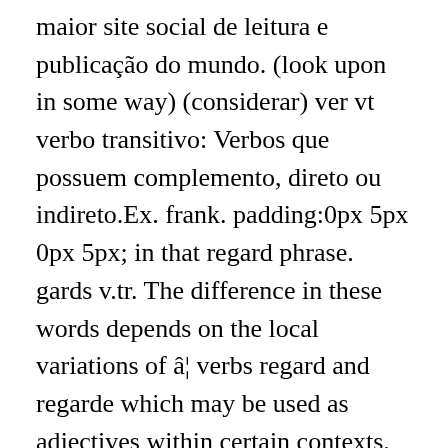maior site social de leitura e publicação do mundo. (look upon in some way) (considerar) ver vt verbo transitivo: Verbos que possuem complemento, direto ou indireto.Ex. frank. padding:0px 5px 0px 5px; in that regard phrase. gards v.tr. The difference in these words depends on the local variations of â¦ verbs regard and regarde which may be used as adjectives within certain contexts. Muitos exemplos de traduções com "best regards" â Dicionário português-inglês e busca em milhões de traduções. div.defv2relatedwords a:hover { In French, adjectives may be placed before or after the noun, depending on their type and meaning. Both of the following